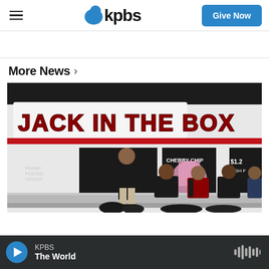kpbs | Give Now
More News ›
[Figure (photo): People standing and sitting outside a Jack in the Box fast food restaurant at night. A man stands in the foreground wearing dark clothing, and several others sit along a low wall. Interior signs read 'Cherry Chip' and '$1.2 Fish F...']
KPBS — The World (audio player bar)